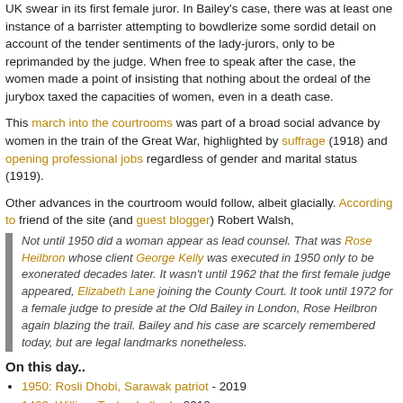UK swear in its first female juror. In Bailey's case, there was at least one instance of a barrister attempting to bowdlerize some sordid detail on account of the tender sentiments of the lady-jurors, only to be reprimanded by the judge. When free to speak after the case, the women made a point of insisting that nothing about the ordeal of the jurybox taxed the capacities of women, even in a death case.
This march into the courtrooms was part of a broad social advance by women in the train of the Great War, highlighted by suffrage (1918) and opening professional jobs regardless of gender and marital status (1919).
Other advances in the courtroom would follow, albeit glacially. According to friend of the site (and guest blogger) Robert Walsh,
Not until 1950 did a woman appear as lead counsel. That was Rose Heilbron whose client George Kelly was executed in 1950 only to be exonerated decades later. It wasn't until 1962 that the first female judge appeared, Elizabeth Lane joining the County Court. It took until 1972 for a female judge to preside at the Old Bailey in London, Rose Heilbron again blazing the trail. Bailey and his case are scarcely remembered today, but are legal landmarks nonetheless.
On this day..
1950: Rosli Dhobi, Sarawak patriot - 2019
1423: William Taylor, Lollard - 2018
1942: The massacre at the Pit - 2017
1962: Kelly Moss, restless of spirit - 2016
1401: William Sawtre, Lollard heretic - 2015
1871: Ma Hualong, Dungan rebel - 2014
1886: David Roberts, dutiful son - 2013
1942: Jakub Lemberg and family - 2012
2006: Ali Afrawi and Mehdi Nawaseri - 2011